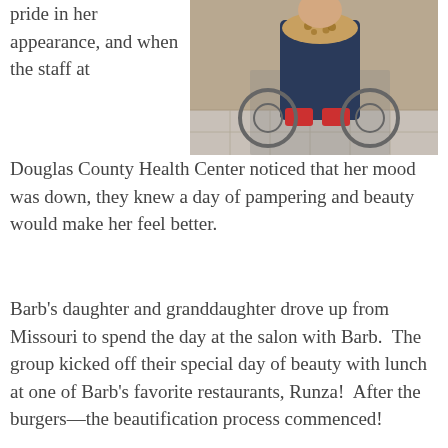[Figure (photo): Photo of a person in a wheelchair wearing a navy outfit with a leopard-print collar, with red shoes visible, taken indoors on a tiled floor.]
pride in her appearance, and when the staff at Douglas County Health Center noticed that her mood was down, they knew a day of pampering and beauty would make her feel better.
Barb's daughter and granddaughter drove up from Missouri to spend the day at the salon with Barb.  The group kicked off their special day of beauty with lunch at one of Barb's favorite restaurants, Runza!  After the burgers—the beautification process commenced!
The ladies enjoyed manicures, haircuts and styles, and Barb even opted to get highlights.  Spending the day with her girls, and receiving a little pampering was just what Barb needed to lift her spirits and to feel pretty